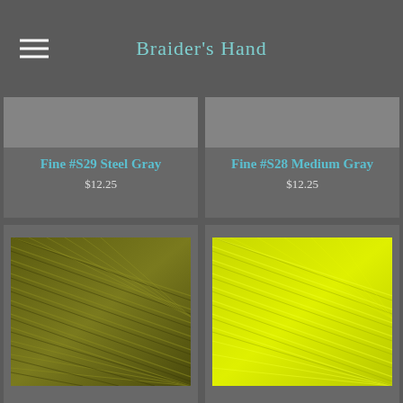Braider's Hand
Fine #S29 Steel Gray
$12.25
Fine #S28 Medium Gray
$12.25
[Figure (photo): Olive/army green braided thread or yarn texture, close-up with strands running diagonally]
[Figure (photo): Bright neon yellow-green braided thread or yarn texture, close-up with strands running diagonally]